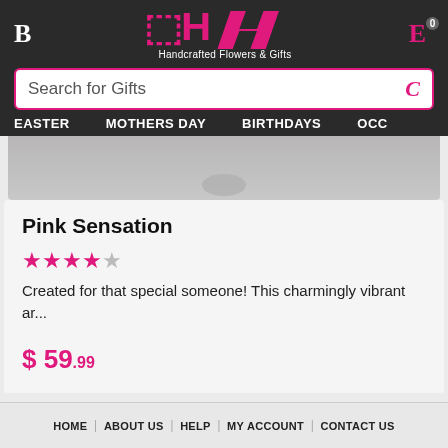[Figure (screenshot): Website header with dark background showing logo 'B' on left, stylized 'H' logo with text 'Handcrafted Flowers & Gifts' in center, and 'E' with cart icon on right]
Search for Gifts
EASTER   MOTHERS DAY   BIRTHDAYS   OCC...
[Figure (photo): Product photo showing Pink Sensation floral arrangement, partially visible]
Pink Sensation
[Figure (other): 4 out of 5 pink stars rating]
Created for that special someone! This charmingly vibrant ar...
$ 59.99
HOME | ABOUT US | HELP | MY ACCOUNT | CONTACT US